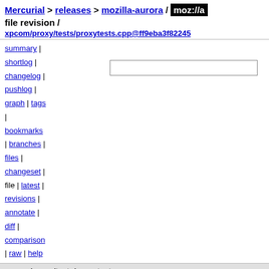Mercurial > releases > mozilla-aurora / moz://a file revision /
xpcom/proxy/tests/proxytests.cpp@ff9eba3f82245
summary |
shortlog |
changelog |
pushlog |
graph | tags
|
bookmarks
| branches |
files |
changeset |
file | latest |
revisions |
annotate |
diff |
comparison
| raw | help
xpcom/proxy/tests/proxytests.cpp
| field | value |
| --- | --- |
| author | Taras Glek <tglek@mozilla.com> |
|  | Sat, 08 Aug 2009 12:07:39 +0200 (2009-08-08) |
| changeset 31243 | ff9eba3f82245af4bbee39ba022725e8ed3998ce |
| parent 20190 | b0120922280c2e168417ed145c54efa3f1020411 |
| child 46997 | 1e41bf320ea0cd5fa6a03892b87d59278ee8754c |
| permissions | -rw-r--r-- |